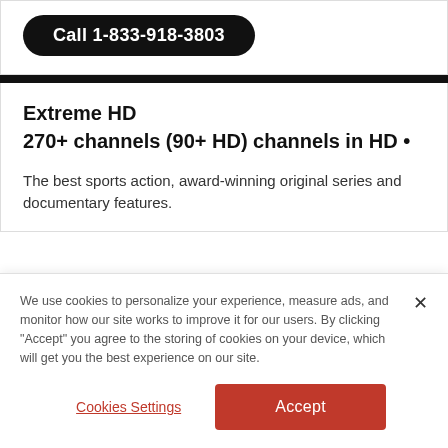Call 1-833-918-3803
Extreme HD
270+ channels (90+ HD) channels in HD •
The best sports action, award-winning original series and documentary features.
We use cookies to personalize your experience, measure ads, and monitor how our site works to improve it for our users. By clicking "Accept" you agree to the storing of cookies on your device, which will get you the best experience on our site.
Cookies Settings
Accept